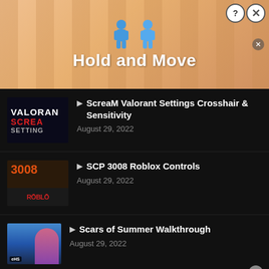[Figure (screenshot): Ad banner for 'Hold and Move' game app with two blue cartoon figures and striped background]
ScreaM Valorant Settings Crosshair & Sensitivity
August 29, 2022
SCP 3008 Roblox Controls
August 29, 2022
Scars of Summer Walkthrough
August 29, 2022
[Figure (screenshot): Bottom advertisement banner: Visymo - Check Ms Treatment - VISIT SITE button]